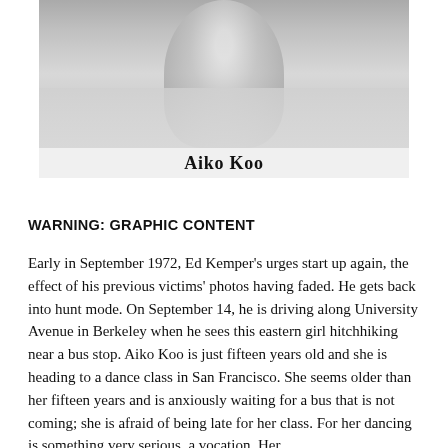[Figure (photo): Black and white photograph of Aiko Koo, partially visible, showing upper body]
Aiko Koo
WARNING: GRAPHIC CONTENT
Early in September 1972, Ed Kemper’s urges start up again, the effect of his previous victims’ photos having faded. He gets back into hunt mode. On September 14, he is driving along University Avenue in Berkeley when he sees this eastern girl hitchhiking near a bus stop. Aiko Koo is just fifteen years old and she is heading to a dance class in San Francisco. She seems older than her fifteen years and is anxiously waiting for a bus that is not coming; she is afraid of being late for her class. For her dancing is something very serious, a vocation. Her